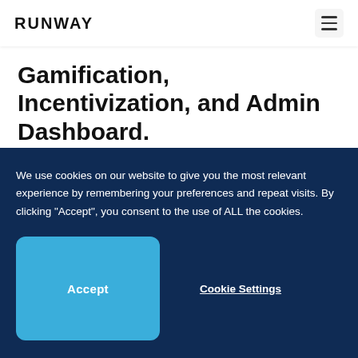RUNWAY
Gamification, Incentivization, and Admin Dashboard.
Price
We use cookies on our website to give you the most relevant experience by remembering your preferences and repeat visits. By clicking “Accept”, you consent to the use of ALL the cookies.
Accept
Cookie Settings